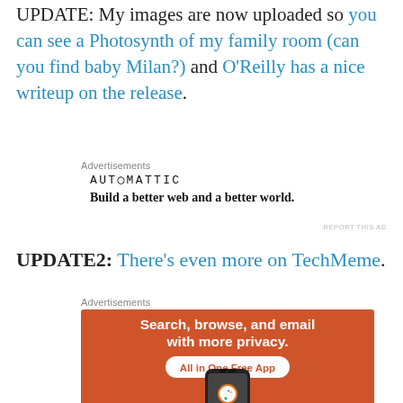UPDATE: My images are now uploaded so you can see a Photosynth of my family room (can you find baby Milan?) and O'Reilly has a nice writeup on the release.
[Figure (infographic): Automattic advertisement: logo 'AUT⊙MATTIC' and tagline 'Build a better web and a better world.']
REPORT THIS AD
UPDATE2: There's even more on TechMeme.
[Figure (infographic): DuckDuckGo advertisement: orange banner reading 'Search, browse, and email with more privacy. All in One Free App' with phone showing DuckDuckGo logo.]